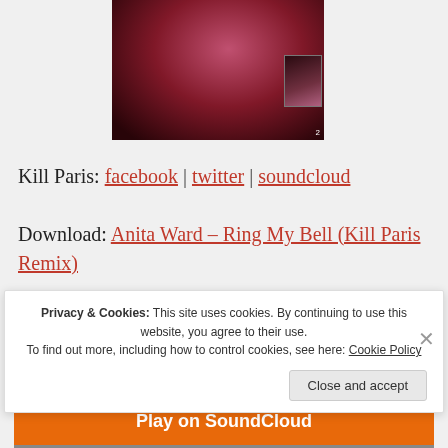[Figure (photo): Partial view of a person in red fabric, dark moody tones, with a small thumbnail image in the corner]
Kill Paris: facebook | twitter | soundcloud
Download: Anita Ward – Ring My Bell (Kill Paris Remix)
[Figure (screenshot): SoundCloud embedded player widget showing 'Ring My Bel...' with a Play on SoundCloud orange button and waveform]
Privacy & Cookies: This site uses cookies. By continuing to use this website, you agree to their use.
To find out more, including how to control cookies, see here: Cookie Policy
Close and accept